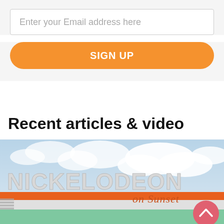Enter your Email address here
SIGN UP
Recent articles & video
[Figure (photo): Photo of the Nickelodeon on Sunset building sign against a blue sky with clouds. Large white and silver lettering reads 'NICKELODEON on Sunset' with an orange underbar. The building facade is green/teal at the bottom. A pink/red circular scroll-up button is visible in the lower right corner of the image.]